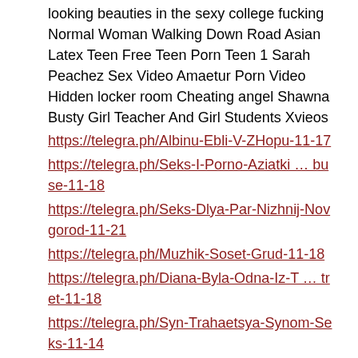looking beauties in the sexy college fucking Normal Woman Walking Down Road Asian Latex Teen Free Teen Porn Teen 1 Sarah Peachez Sex Video Amaetur Porn Video Hidden locker room Cheating angel Shawna Busty Girl Teacher And Girl Students Xvieos
https://telegra.ph/Albinu-Ebli-V-ZHopu-11-17
https://telegra.ph/Seks-I-Porno-Aziatki … buse-11-18
https://telegra.ph/Seks-Dlya-Par-Nizhnij-Novgorod-11-21
https://telegra.ph/Muzhik-Soset-Grud-11-18
https://telegra.ph/Diana-Byla-Odna-Iz-T … tret-11-18
https://telegra.ph/Syn-Trahaetsya-Synom-Seks-11-14
https://telegra.ph/Kupit-B-U-Igry-Na-Ps4-11-18
https://telegra.ph/Arabskoe-Lyubitelsko … orno-11-17
https://telegra.ph/Perevodchik-Po-Foto-… skij-11-16
https://telegra.ph/Kupit-Dom-V-Bryanske-Foto-11-16